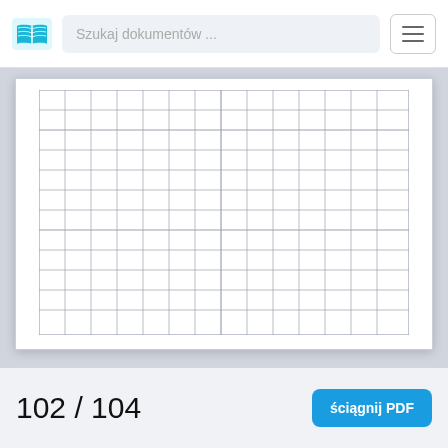[Figure (screenshot): Mobile app navigation bar with a blue book logo/icon on the left, a search input field reading 'Szukaj dokumentów ...' in the center, and a hamburger menu button on the right.]
[Figure (table-as-image): A blank grid/table with many rows and columns drawn with thin gray lines on a white background, representing an empty data table or graph paper from a document page.]
102 / 104
ściągnij PDF